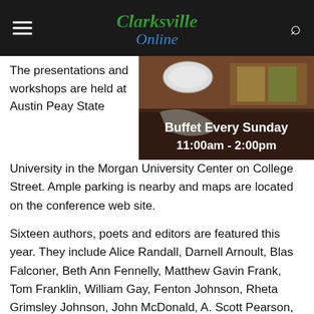Clarksville Online
The presentations and workshops are held at Austin Peay State University in the Morgan University Center on College Street. Ample parking is nearby and maps are located on the conference web site.
[Figure (photo): Restaurant buffet spread with text overlay: Buffet Every Sunday 11:00am - 2:00pm]
Sixteen authors, poets and editors are featured this year. They include Alice Randall, Darnell Arnoult, Blas Falconer, Beth Ann Fennelly, Matthew Gavin Frank, Tom Franklin, William Gay, Fenton Johnson, Rheta Grimsley Johnson, John McDonald, A. Scott Pearson, David James Poissant, Chuck